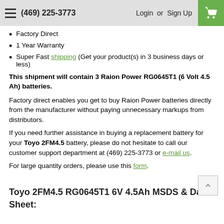(469) 225-3773  Login or Sign Up
Factory Direct
1 Year Warranty
Super Fast shipping (Get your product(s) in 3 business days or less)
This shipment will contain 3 Raion Power RG0645T1 (6 Volt 4.5 Ah) batteries.
Factory direct enables you get to buy Raion Power batteries directly from the manufacturer without paying unnecessary markups from distributors.
If you need further assistance in buying a replacement battery for your Toyo 2FM4.5 battery, please do not hesitate to call our customer support department at (469) 225-3773 or e-mail us.
For large quantity orders, please use this form.
Toyo 2FM4.5 RG0645T1 6V 4.5Ah MSDS & Data Sheet: